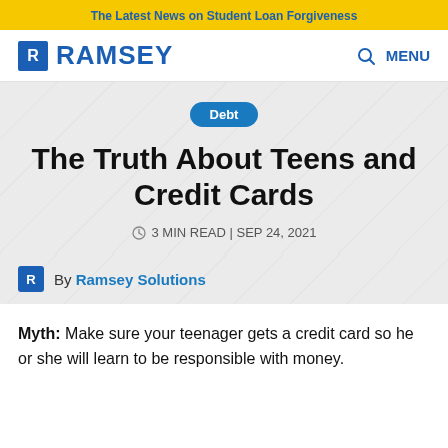The Latest News on Student Loan Forgiveness
[Figure (logo): Ramsey Solutions logo with blue R icon and RAMSEY text]
Debt
The Truth About Teens and Credit Cards
3 MIN READ | SEP 24, 2021
By Ramsey Solutions
Myth: Make sure your teenager gets a credit card so he or she will learn to be responsible with money.